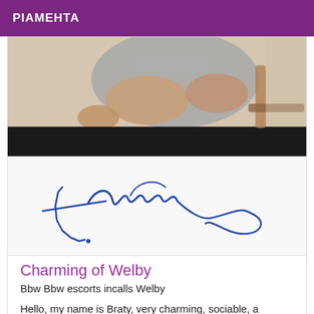PIAMEHTA
[Figure (photo): Partial photo of a person wearing a grey t-shirt, sitting with hand on hip, with a chair visible in background]
[Figure (illustration): A handwritten signature in blue ink, consisting of cursive/flowing script]
Charming of Welby
Bbw Bbw escorts incalls Welby
Hello, my name is Braty, very charming, sociable, a